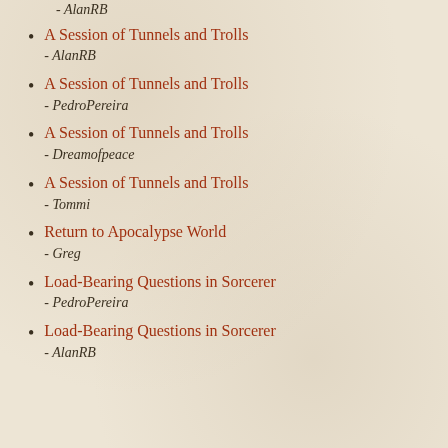- AlanRB
A Session of Tunnels and Trolls
- AlanRB
A Session of Tunnels and Trolls
- PedroPereira
A Session of Tunnels and Trolls
- Dreamofpeace
A Session of Tunnels and Trolls
- Tommi
Return to Apocalypse World
- Greg
Load-Bearing Questions in Sorcerer
- PedroPereira
Load-Bearing Questions in Sorcerer
- AlanRB